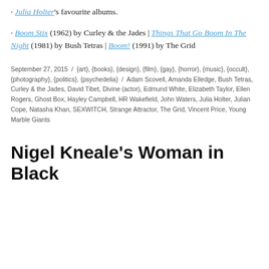· Julia Holter's favourite albums.
· Boom Stix (1962) by Curley & the Jades | Things That Go Boom In The Night (1981) by Bush Tetras | Boom! (1991) by The Grid
September 27, 2015 / {art}, {books}, {design}, {film}, {gay}, {horror}, {music}, {occult}, {photography}, {politics}, {psychedelia} / Adam Scovell, Amanda Elledge, Bush Tetras, Curley & the Jades, David Tibet, Divine (actor), Edmund White, Elizabeth Taylor, Ellen Rogers, Ghost Box, Hayley Campbell, HR Wakefield, John Waters, Julia Holter, Julian Cope, Natasha Khan, SEXWITCH, Strange Attractor, The Grid, Vincent Price, Young Marble Giants
Nigel Kneale's Woman in Black